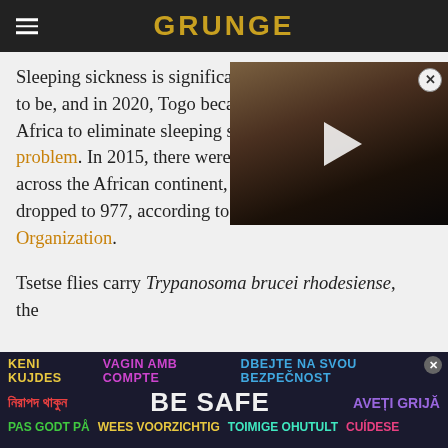GRUNGE
[Figure (photo): Video thumbnail of a person singing at a microphone on stage with a play button overlay]
Sleeping sickness is significantly less of a problem than it used to be, and in 2020, Togo became the first country in Africa to eliminate sleeping sickness as a public health problem. In 2015, there were fewer than 3,000 cases across the African continent, and in 2018, that number dropped to 977, according to the World Health Organization.
Tsetse flies carry Trypanosoma brucei rhodesiense, the
[Figure (infographic): BE SAFE multilingual safety banner with text in multiple languages: KENI KUJDES, VAGIN AMB COMPTE, DBEJTE NA SVOU BEZPECNOST, নিরাপদ থাকুন, BE SAFE, AVETI GRIJA, PAS GODT PA, WEES VOORZICHTIG, TOIMIGE OHUTULT, CUIDESE]